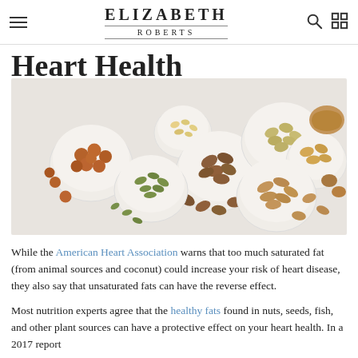ELIZABETH ROBERTS
Heart Health
[Figure (photo): Overhead view of various nuts and seeds in white bowls and scattered on a light surface — hazelnuts, pine nuts, pecans, pistachios, peanuts, pumpkin seeds, almonds, walnuts]
While the American Heart Association warns that too much saturated fat (from animal sources and coconut) could increase your risk of heart disease, they also say that unsaturated fats can have the reverse effect.
Most nutrition experts agree that the healthy fats found in nuts, seeds, fish, and other plant sources can have a protective effect on your heart health. In a 2017 report